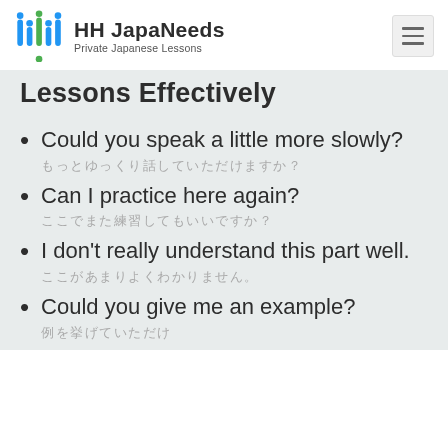HH JapaNeeds — Private Japanese Lessons
Lessons Effectively
Could you speak a little more slowly?
もっとゆっくり話していただけますか？
Can I practice here again?
ここでまた練習してもいいですか？
I don't really understand this part well.
ここがあまりよくわかりません。
Could you give me an example?
例を挙げていただけますか？